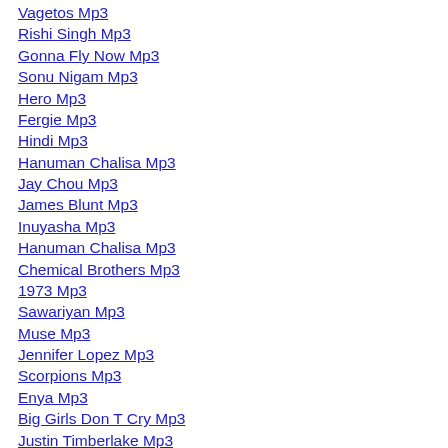Vagetos Mp3
Rishi Singh Mp3
Gonna Fly Now Mp3
Sonu Nigam Mp3
Hero Mp3
Fergie Mp3
Hindi Mp3
Hanuman Chalisa Mp3
Jay Chou Mp3
James Blunt Mp3
Inuyasha Mp3
Hanuman Chalisa Mp3
Chemical Brothers Mp3
1973 Mp3
Sawariyan Mp3
Muse Mp3
Jennifer Lopez Mp3
Scorpions Mp3
Enya Mp3
Big Girls Don T Cry Mp3
Justin Timberlake Mp3
Nirvana Mp3
N Dubz Mp3
Haka Mp3
Sean Kingston Mp3